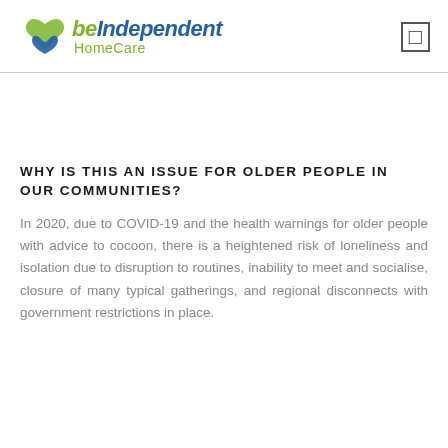be Independent HomeCare
WHY IS THIS AN ISSUE FOR OLDER PEOPLE IN OUR COMMUNITIES?
In 2020, due to COVID-19 and the health warnings for older people with advice to cocoon, there is a heightened risk of loneliness and isolation due to disruption to routines, inability to meet and socialise, closure of many typical gatherings, and regional disconnects with government restrictions in place.